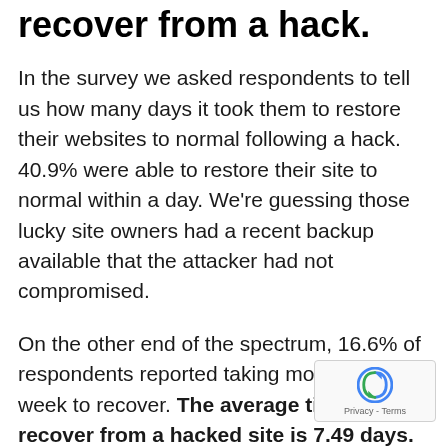recover from a hack.
In the survey we asked respondents to tell us how many days it took them to restore their websites to normal following a hack. 40.9% were able to restore their site to normal within a day. We're guessing those lucky site owners had a recent backup available that the attacker had not compromised.
On the other end of the spectrum, 16.6% of respondents reported taking more than a week to recover. The average time to recover from a hacked site is 7.49 days.
We also asked what steps were taken to clean respondents' websites. 85.6% were able to clean